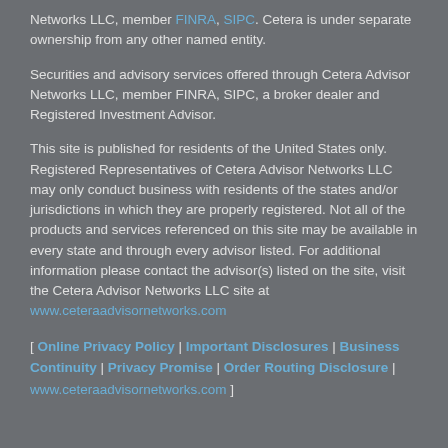Networks LLC, member FINRA, SIPC. Cetera is under separate ownership from any other named entity.
Securities and advisory services offered through Cetera Advisor Networks LLC, member FINRA, SIPC, a broker dealer and Registered Investment Advisor.
This site is published for residents of the United States only. Registered Representatives of Cetera Advisor Networks LLC may only conduct business with residents of the states and/or jurisdictions in which they are properly registered. Not all of the products and services referenced on this site may be available in every state and through every advisor listed. For additional information please contact the advisor(s) listed on the site, visit the Cetera Advisor Networks LLC site at www.ceteraadvisornetworks.com
[ Online Privacy Policy | Important Disclosures | Business Continuity | Privacy Promise | Order Routing Disclosure | www.ceteraadvisornetworks.com ]